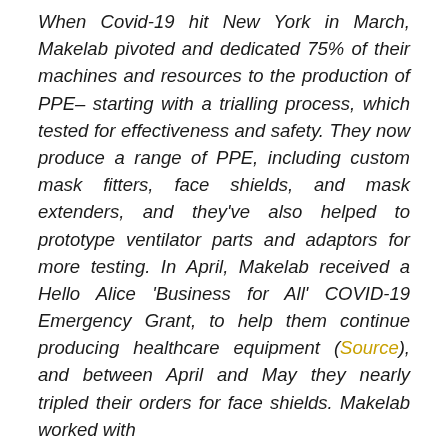When Covid-19 hit New York in March, Makelab pivoted and dedicated 75% of their machines and resources to the production of PPE– starting with a trialling process, which tested for effectiveness and safety. They now produce a range of PPE, including custom mask fitters, face shields, and mask extenders, and they've also helped to prototype ventilator parts and adaptors for more testing. In April, Makelab received a Hello Alice 'Business for All' COVID-19 Emergency Grant, to help them continue producing healthcare equipment (Source), and between April and May they nearly tripled their orders for face shields. Makelab worked with